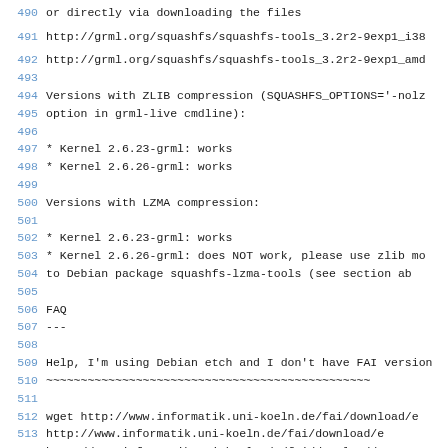490 or directly via downloading the files
491 http://grml.org/squashfs/squashfs-tools_3.2r2-9exp1_i386
492 http://grml.org/squashfs/squashfs-tools_3.2r2-9exp1_amd6
493
494 Versions with ZLIB compression (SQUASHFS_OPTIONS='-nolz
495 option in grml-live cmdline):
496
497 * Kernel 2.6.23-grml: works
498 * Kernel 2.6.26-grml: works
499
500 Versions with LZMA compression:
501
502 * Kernel 2.6.23-grml: works
503 * Kernel 2.6.26-grml: does NOT work, please use zlib mo
504   to Debian package squashfs-lzma-tools (see section ab
505
506 FAQ
507 ---
508
509 Help, I'm using Debian etch and I don't have FAI version
510 ~~~~~~~~~~~~~~~~~~~~~~~~~~~~~~~~~~~~~~~~~~~~~~~
511
512   wget http://www.informatik.uni-koeln.de/fai/download/e
513        http://www.informatik.uni-koeln.de/fai/download/e
514        http://www.informatik.uni-koeln.de/fai/download/e
515   dpkg -i fai-client_3.2.8_all.deb fai-server_3.2.8_all
516